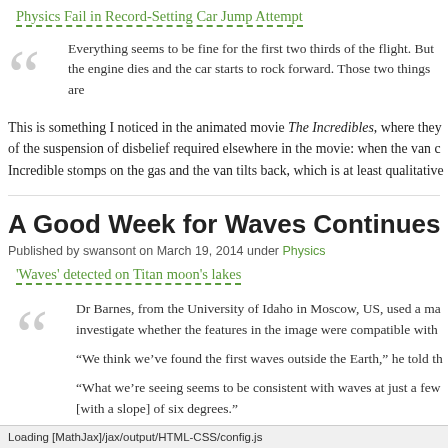Physics Fail in Record-Setting Car Jump Attempt
Everything seems to be fine for the first two thirds of the flight. But the engine dies and the car starts to rock forward. Those two things are
This is something I noticed in the animated movie The Incredibles, where they of the suspension of disbelief required elsewhere in the movie: when the van c Incredible stomps on the gas and the van tilts back, which is at least qualitative
A Good Week for Waves Continues
Published by swansont on March 19, 2014 under Physics
'Waves' detected on Titan moon's lakes
Dr Barnes, from the University of Idaho in Moscow, US, used a ma investigate whether the features in the image were compatible with
“We think we’ve found the first waves outside the Earth,” he told th
“What we’re seeing seems to be consistent with waves at just a few [with a slope] of six degrees.”
Loading [MathJax]/jax/output/HTML-CSS/config.js